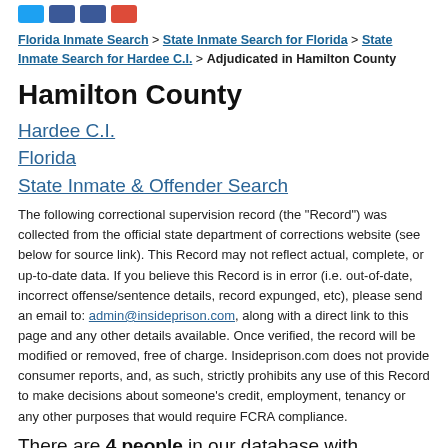Social share icons: Twitter, Facebook, Facebook, Google+
Florida Inmate Search > State Inmate Search for Florida > State Inmate Search for Hardee C.I. > Adjudicated in Hamilton County
Hamilton County
Hardee C.I.
Florida
State Inmate & Offender Search
The following correctional supervision record (the "Record") was collected from the official state department of corrections website (see below for source link). This Record may not reflect actual, complete, or up-to-date data. If you believe this Record is in error (i.e. out-of-date, incorrect offense/sentence details, record expunged, etc), please send an email to: admin@insideprison.com, along with a direct link to this page and any other details available. Once verified, the record will be modified or removed, free of charge. Insideprison.com does not provide consumer reports, and, as such, strictly prohibits any use of this Record to make decisions about someone's credit, employment, tenancy or any other purposes that would require FCRA compliance.
There are 4 people in our database with incarceration and correctional supervision records in Hardee C.I., Florida who were adjudicated in